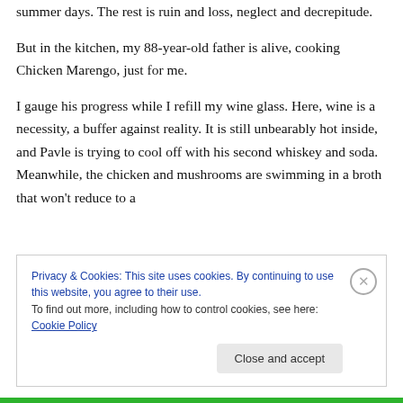summer days. The rest is ruin and loss, neglect and decrepitude.
But in the kitchen, my 88-year-old father is alive, cooking Chicken Marengo, just for me.
I gauge his progress while I refill my wine glass. Here, wine is a necessity, a buffer against reality. It is still unbearably hot inside, and Pavle is trying to cool off with his second whiskey and soda. Meanwhile, the chicken and mushrooms are swimming in a broth that won't reduce to a
Privacy & Cookies: This site uses cookies. By continuing to use this website, you agree to their use.
To find out more, including how to control cookies, see here: Cookie Policy